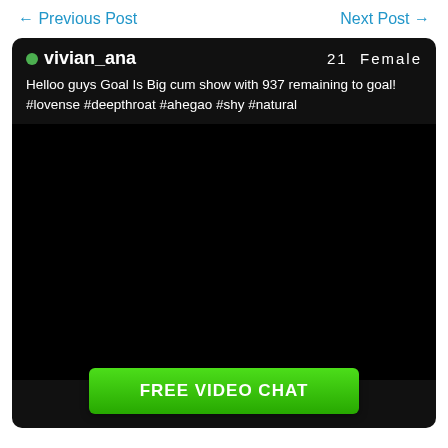← Previous Post    Next Post →
vivian_ana    21  Female
Helloo guys Goal Is Big cum show with 937 remaining to goal! #lovense #deepthroat #ahegao #shy #natural
[Figure (other): Black video chat area]
FREE VIDEO CHAT